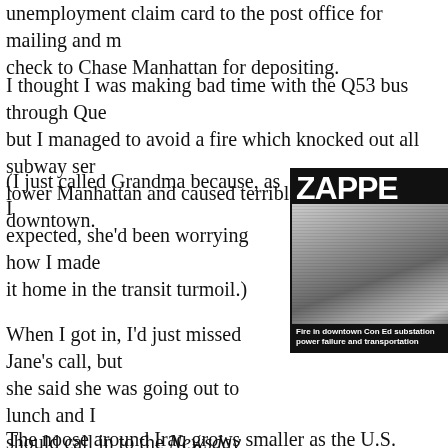unemployment claim card to the post office for mailing and my check to Chase Manhattan for depositing.
I thought I was making bad time with the Q53 bus through Queens, but I managed to avoid a fire which knocked out all subway service in lower Manhattan and caused terrible disruptions downtown.
(I just called Grandma because, as I expected, she'd been worrying how I made it home in the transit turmoil.)
When I got in, I'd just missed Jane's call, but she said she was going out to lunch and I should call in to the Newsday office at 3 PM.
It was hot enough to warrant staying in the air-conditioned bedroom the rest of the day, reading newspapers and catching the news on TV and radio.
[Figure (photo): Newspaper front page showing partial masthead reading 'ZAPPE' in large bold white letters on black background, with a black and white photo of a crowd scene below, and a caption at the bottom reading 'Fire in downtown Con Ed substation power failure and transportation']
The noose around Iraq grows smaller as the U.S. forces lead...